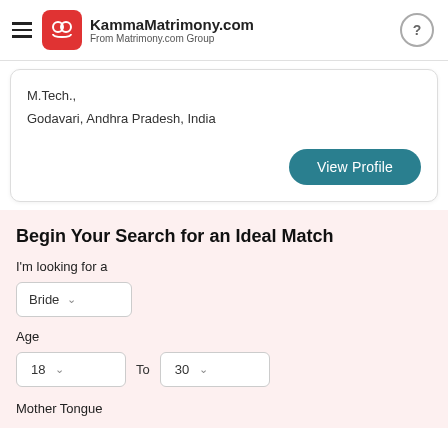KammaMatrimony.com From Matrimony.com Group
M.Tech.,
Godavari, Andhra Pradesh, India
View Profile
Begin Your Search for an Ideal Match
I'm looking for a
Bride
Age
18  To  30
Mother Tongue